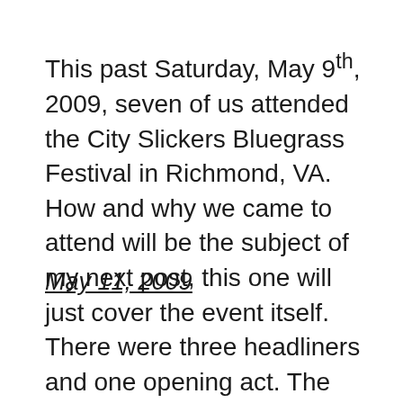This past Saturday, May 9th, 2009, seven of us attended the City Slickers Bluegrass Festival in Richmond, VA. How and why we came to attend will be the subject of my next post, this one will just cover the event itself. There were three headliners and one opening act. The opening act, Page […]
May 11, 2009